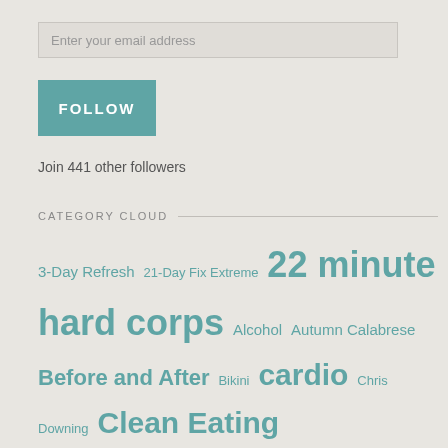[Figure (screenshot): Email input field with placeholder text 'Enter your email address']
[Figure (screenshot): Teal FOLLOW button]
Join 441 other followers
CATEGORY CLOUD
3-Day Refresh  21-Day Fix Extreme  22 minute hard corps  Alcohol  Autumn Calabrese  Before and After  Bikini  cardio  Chris Downing  Clean Eating  Core De Force  focus t25  Foodie!  MMA  Portion Control  Rants  Realizations  Recipes  Reviews  shakeology  Shift Shop  Strength Training